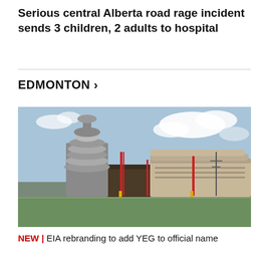Serious central Alberta road rage incident sends 3 children, 2 adults to hospital
EDMONTON >
[Figure (photo): Exterior photo of Edmonton International Airport (EIA), showing the distinctive curved terminal building and the control tower against a partly cloudy sky, with green grass in the foreground.]
NEW | EIA rebranding to add YEG to official name